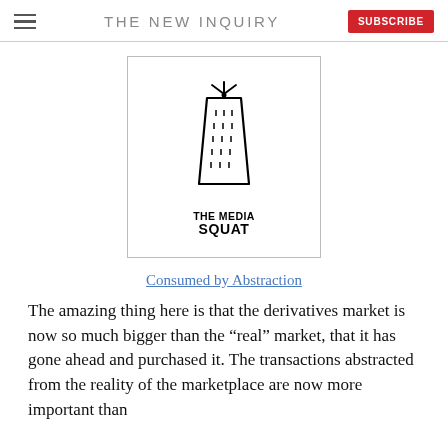THE NEW INQUIRY
[Figure (logo): The Media Squat logo: a hand-drawn illustration of a trapezoidal cheese grater with rays emanating from the top, and bold uppercase text reading THE MEDIA SQUAT below]
Consumed by Abstraction
The amazing thing here is that the derivatives market is now so much bigger than the “real” market, that it has gone ahead and purchased it. The transactions abstracted from the reality of the marketplace are now more important than